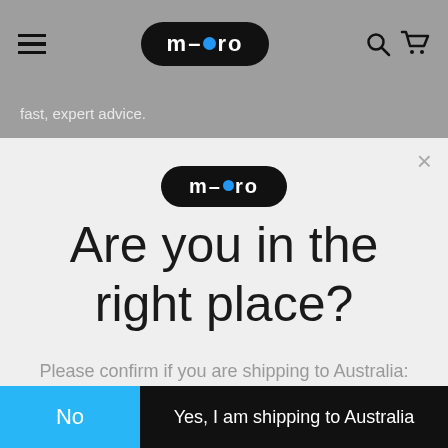[Figure (screenshot): Micro scooter website navigation bar with hamburger menu, m-cro logo, search and cart icons on grey background]
fast, expert advice.
[Figure (logo): m-cro logo in black oval]
Are you in the right place?
Please confirm if you are shipping to Australia:
No
Yes, I am shipping to Australia